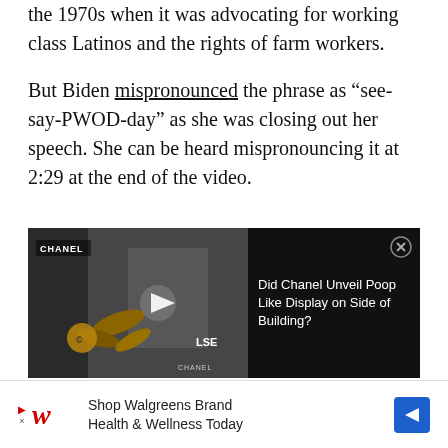the 1970s when it was advocating for working class Latinos and the rights of farm workers.
But Biden mispronounced the phrase as “see-say-PWOD-day” as she was closing out her speech. She can be heard mispronouncing it at 2:29 at the end of the video.
[Figure (screenshot): Embedded video player showing a Chanel storefront thumbnail with a play button. Overlaid with a popup showing 'Did Chanel Unveil Poop Like Display on Side of Building?' with a close button.]
[Figure (photo): Walgreens advertisement banner: 'Shop Walgreens Brand Health & Wellness Today' with Walgreens logo and navigation arrow.]